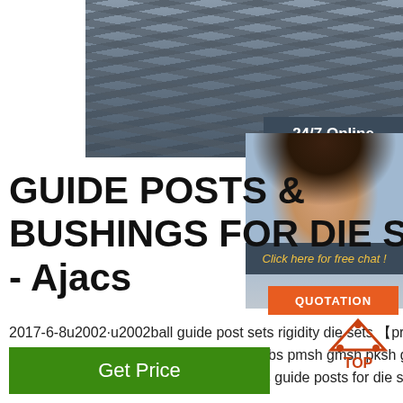[Figure (photo): Photo of metal rods/steel bars stacked together, industrial product photo]
[Figure (photo): 24/7 Online badge with dark background and white text]
[Figure (photo): Customer service agent/woman with headset smiling, with chat box saying 'Click here for free chat!' and orange QUOTATION button]
GUIDE POSTS & BUSHINGS FOR DIE S - Ajacs
2017-6-8u2002·u2002ball guide post sets rigidity die sets 【press-fit post type】 ball guide sets for die sets 【press-fit post type】 pbs pmsh gmsh pksh gksh pb gb pm gm pk gk 789 789 plain guide post sets for die sets guide posts for die sets rd rf rz rfz pd pf …
[Figure (logo): TOP icon with orange triangle arrow pointing up and orange text TOP]
[Figure (other): Green Get Price button]